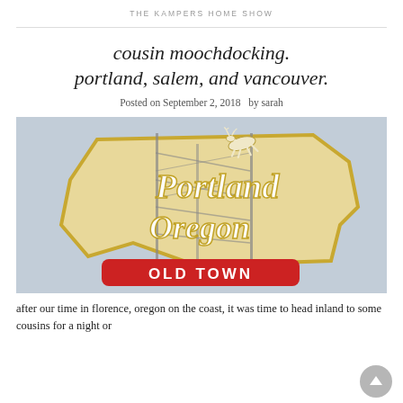THE KAMPERS HOME SHOW
cousin moochdocking. portland, salem, and vancouver.
Posted on September 2, 2018   by sarah
[Figure (photo): Photo of the Portland Oregon Old Town neon sign with a white deer on top, mounted on a metal scaffold frame against a pale blue sky]
after our time in florence, oregon on the coast, it was time to head inland to some cousins for a night or